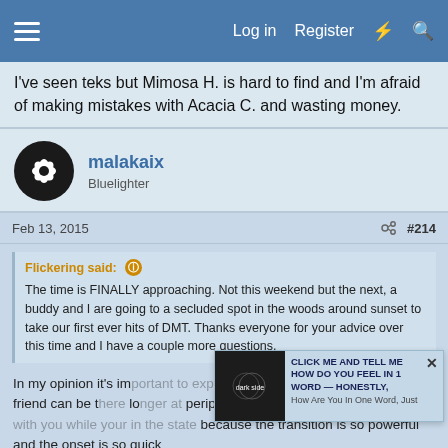Log in | Register
I've seen teks but Mimosa H. is hard to find and I'm afraid of making mistakes with Acacia C. and wasting money.
malakaix
Bluelighter
Feb 13, 2015   #214
Flickering said: ⓘ
The time is FINALLY approaching. Not this weekend but the next, a buddy and I are going to a secluded spot in the woods around sunset to take our first ever hits of DMT. Thanks everyone for your advice over this time and I have a couple more questions.
In my opinion it's important to experience DMT alone. I mean your friend can be there but looking at peripheral vision or attempting to speak with you while your in the state because the transition is so powerful and the onset is so quick
[Figure (screenshot): Ad overlay: dark side logo image with text 'CLICK ME AND TELL ME HOW DO YOU FEEL IN 1 WORD — Honestly, How Are You In One Word, Just']